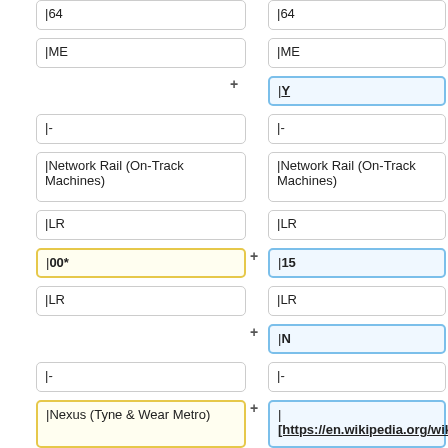|64
|64
|ME
|ME
|Y
|-
|-
|Network Rail (On-Track Machines)
|Network Rail (On-Track Machines)
|LR
|LR
|00*
|15
|LR
|LR
|N
|-
|-
|Nexus (Tyne & Wear Metro)
| [https://en.wikipedia.org/wiki/